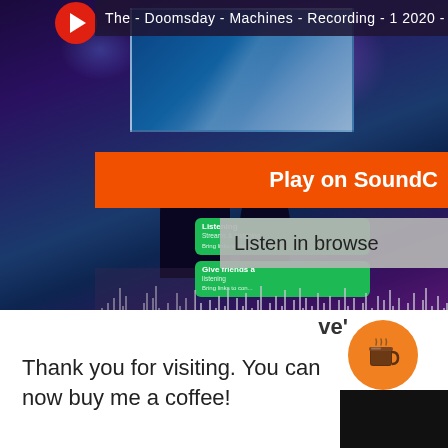[Figure (screenshot): SoundCloud web player screenshot showing 'The - Doomsday - Machines - Recording - 1 2020 -' with a concert/stage background image, an orange 'Play on SoundC' button bar, a gray 'Listen in browse' button, green SoundCloud playlist cards, and an audio waveform visualization at the bottom.]
Thank you for visiting. You can now buy me a coffee!
ve'